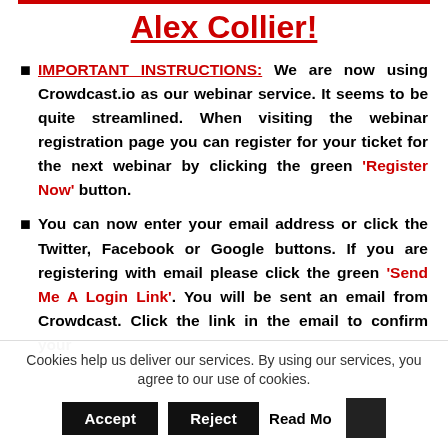Alex Collier!
IMPORTANT INSTRUCTIONS: We are now using Crowdcast.io as our webinar service. It seems to be quite streamlined. When visiting the webinar registration page you can register for your ticket for the next webinar by clicking the green 'Register Now' button.
You can now enter your email address or click the Twitter, Facebook or Google buttons. If you are registering with email please click the green 'Send Me A Login Link'. You will be sent an email from Crowdcast. Click the link in the email to confirm your
Cookies help us deliver our services. By using our services, you agree to our use of cookies.